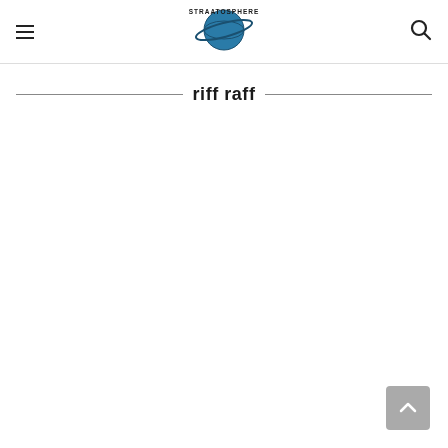Straatosphere — menu and search navigation header
riff raff